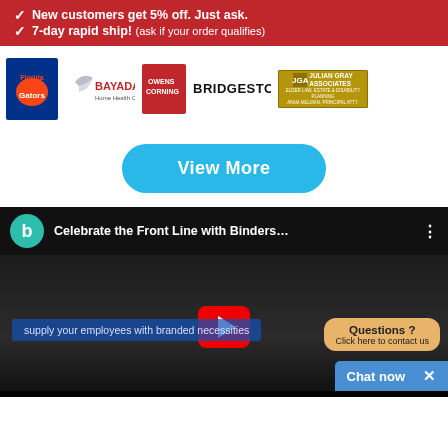New customers get 5% off. Just ask.
7-day rapid ship! (ask if your order qualifies)
[Figure (logo): Row of company logos: Florida Gators, BAYADA Home Health Care, Owens Corning, Bridgestone, Julian Gray Associates]
View More
[Figure (screenshot): YouTube video player screenshot showing 'Celebrate the Front Line with Binders...' with subtitle 'supply your employees with branded necessities', a Questions? chat bubble, and a Chat now bar]